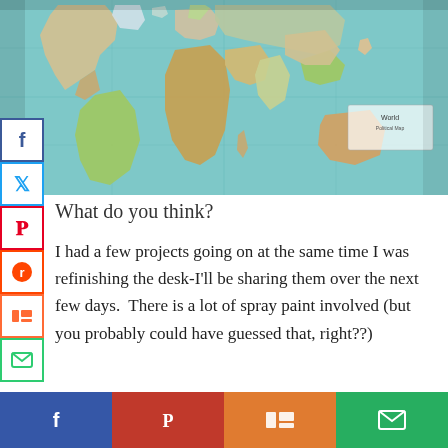[Figure (photo): A world map laid flat on a desk, viewed from above. The map shows continents and countries with colorful markings on a blue ocean background.]
What do you think?
I had a few projects going on at the same time I was refinishing the desk-I'll be sharing them over the next few days. There is a lot of spray paint involved (but you probably could have guessed that, right??)